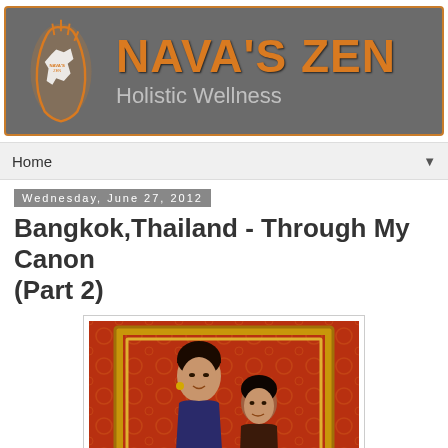[Figure (logo): Nava's Zen Holistic Wellness blog header banner with logo hand graphic and orange text on dark grey background]
Home ▼
Wednesday, June 27, 2012
Bangkok,Thailand - Through My Canon (Part 2)
[Figure (photo): Two women posing inside a decorative golden picture frame against an ornate red patterned background]